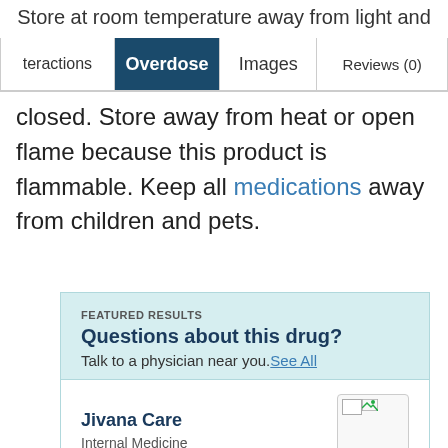Store at room temperature away from light and
teractions | Overdose | Images | Reviews (0)
closed. Store away from heat or open flame because this product is flammable. Keep all medications away from children and pets.
FEATURED RESULTS
Questions about this drug?
Talk to a physician near you. See All
Jivana Care
Internal Medicine